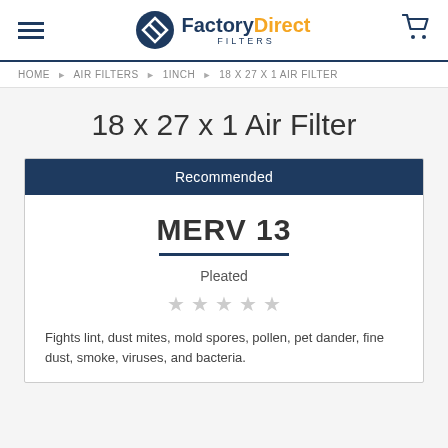FactoryDirect FILTERS
HOME › AIR FILTERS › 1INCH › 18 X 27 X 1 AIR FILTER
18 x 27 x 1 Air Filter
Recommended
MERV 13
Pleated
★★★★★
Fights lint, dust mites, mold spores, pollen, pet dander, fine dust, smoke, viruses, and bacteria.